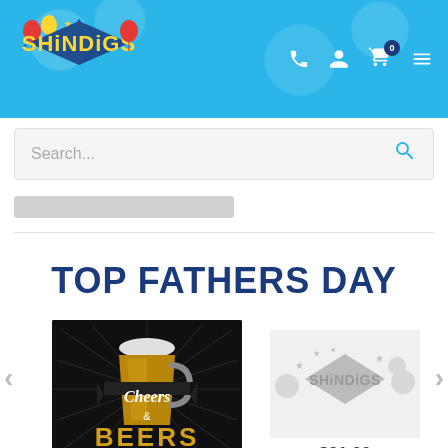[Figure (logo): Shindigs party supplies logo with colorful text and balloons on blue header background]
[Figure (screenshot): Search bar with placeholder text 'Search...' and search icon]
TOP FATHERS DAY
[Figure (photo): Cheers & Beers product image - dark background with beer mug graphic and gold text]
$5.00
[Figure (logo): Shindigs logo on light gray background - placeholder product image]
$21.00